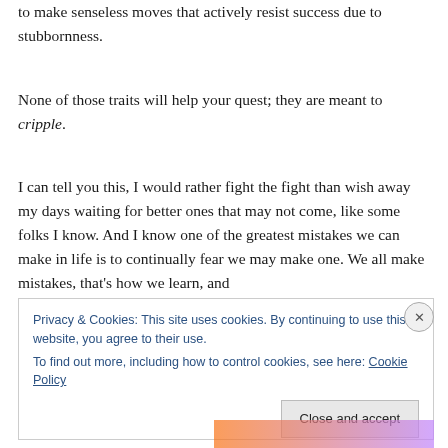Those actions only lead to bad decisions, often causing us to make senseless moves that actively resist success due to stubbornness.
None of those traits will help your quest; they are meant to cripple.
I can tell you this, I would rather fight the fight than wish away my days waiting for better ones that may not come, like some folks I know. And I know one of the greatest mistakes we can make in life is to continually fear we may make one. We all make mistakes, that's how we learn, and
Privacy & Cookies: This site uses cookies. By continuing to use this website, you agree to their use.
To find out more, including how to control cookies, see here: Cookie Policy
Close and accept